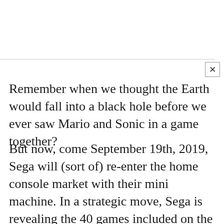Remember when we thought the Earth would fall into a black hole before we ever saw Mario and Sonic in a game together?
But now, come September 19th, 2019, Sega will (sort of) re-enter the home console market with their mini machine. In a strategic move, Sega is revealing the 40 games included on the system in small batches of ten. The machine will retail $80, though we will see where that goes-